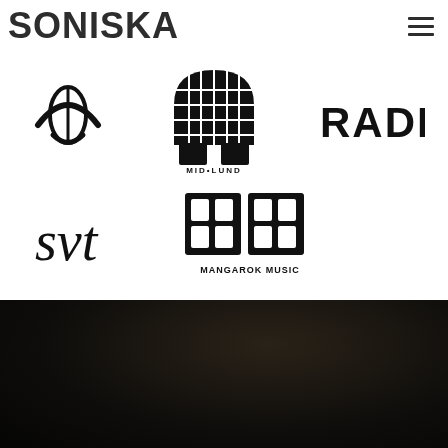SONISKA
[Figure (logo): Partial smiley/leaf logo (bottom arc visible)]
[Figure (logo): MID LUND geometric grid logo]
[Figure (logo): RADIO text logo]
[Figure (logo): SVT logo]
[Figure (logo): MANGAROK MUSIC logo]
[Figure (photo): Dark black/brown background section at bottom of page]